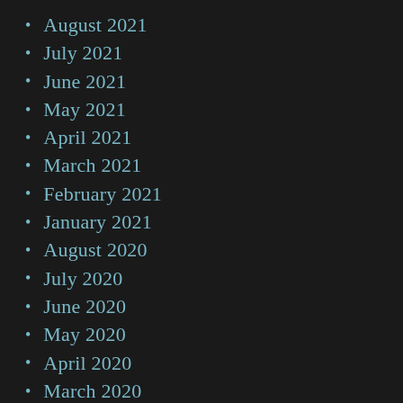August 2021
July 2021
June 2021
May 2021
April 2021
March 2021
February 2021
January 2021
August 2020
July 2020
June 2020
May 2020
April 2020
March 2020
February 2020
January 2020